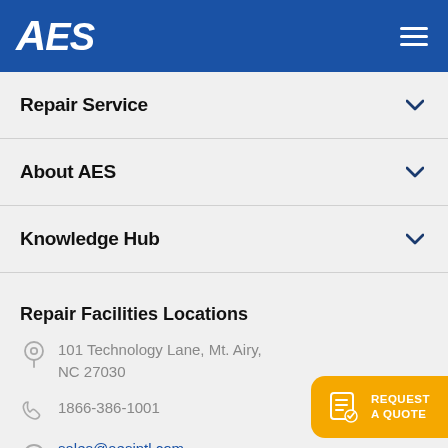AES
Repair Service
About AES
Knowledge Hub
Repair Facilities Locations
101 Technology Lane, Mt. Airy, NC 27030
1866-386-1001
sales@aesintl.com